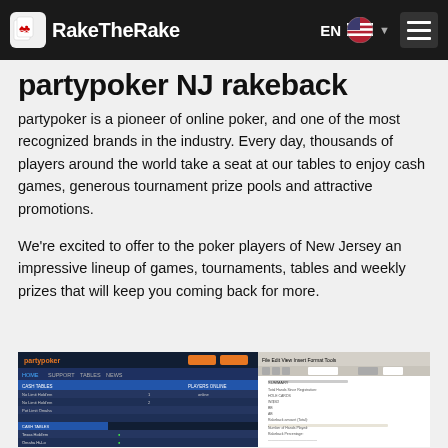RakeTheRake — EN navigation header
partypoker NJ rakeback
partypoker is a pioneer of online poker, and one of the most recognized brands in the industry. Every day, thousands of players around the world take a seat at our tables to enjoy cash games, generous tournament prize pools and attractive promotions.
We're excited to offer to the poker players of New Jersey an impressive lineup of games, tournaments, tables and weekly prizes that will keep you coming back for more.
[Figure (screenshot): Screenshot of partypoker NJ poker client showing lobby with tables and a spreadsheet-like document side by side]